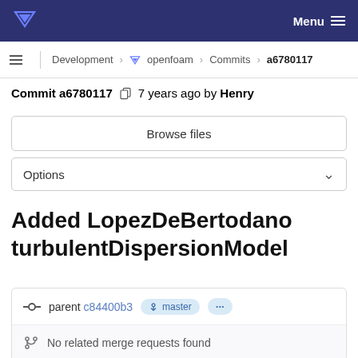Menu
Development > openfoam > Commits > a6780117
Commit a6780117   7 years ago by Henry
Browse files
Options
Added LopezDeBertodano turbulentDispersionModel
parent c84400b3  master  ...
No related merge requests found